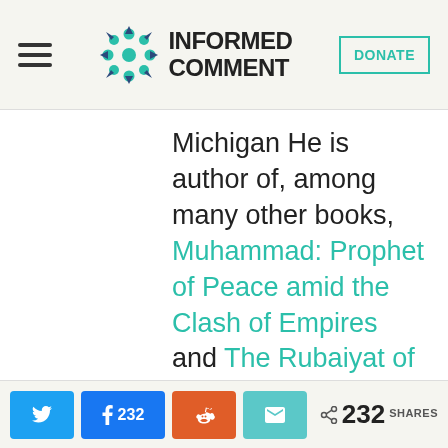INFORMED COMMENT
Michigan He is author of, among many other books, Muhammad: Prophet of Peace amid the Clash of Empires and The Rubaiyat of Omar Khayyam. Follow
232 SHARES